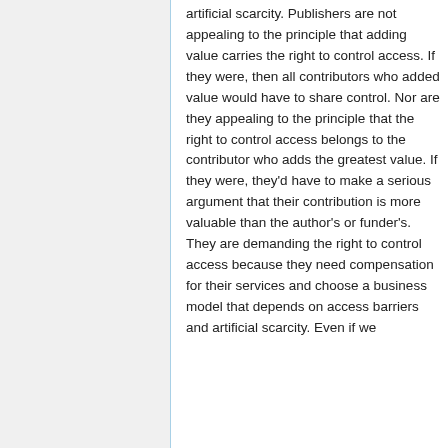artificial scarcity. Publishers are not appealing to the principle that adding value carries the right to control access. If they were, then all contributors who added value would have to share control. Nor are they appealing to the principle that the right to control access belongs to the contributor who adds the greatest value. If they were, they'd have to make a serious argument that their contribution is more valuable than the author's or funder's. They are demanding the right to control access because they need compensation for their services and choose a business model that depends on access barriers and artificial scarcity. Even if we